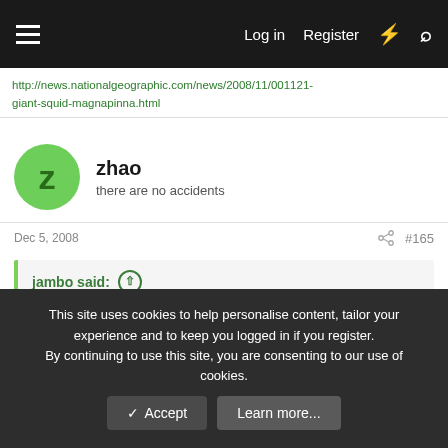Log in  Register
http://news.nationalgeographic.com/news/2008/11/001121-giant-squid-magnapinna.html
zhao
there are no accidents
Dec 5, 2008  #165
jambo said:
the magnapinna squid.
1_magnapinna_461.jpg
This site uses cookies to help personalise content, tailor your experience and to keep you logged in if you register.
By continuing to use this site, you are consenting to our use of cookies.